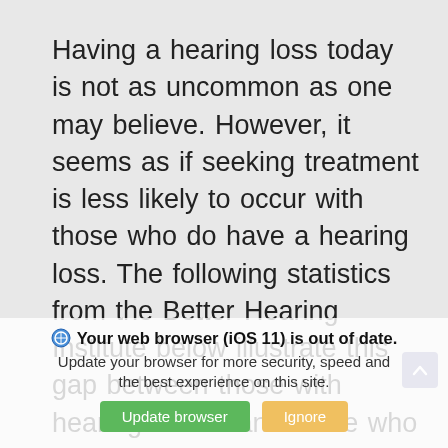Having a hearing loss today is not as uncommon as one may believe. However, it seems as if seeking treatment is less likely to occur with those who do have a hearing loss. The following statistics from the Better Hearing Institute below illustrate this gap between those with hearing losses and those who seek care. While we at Ascent Audiology & Hearing have been able to care for numerous individuals in the community, it is surprising to be reminded that there are so many who do not get the care that they should have.
Your web browser (iOS 11) is out of date. Update your browser for more security, speed and the best experience on this site.